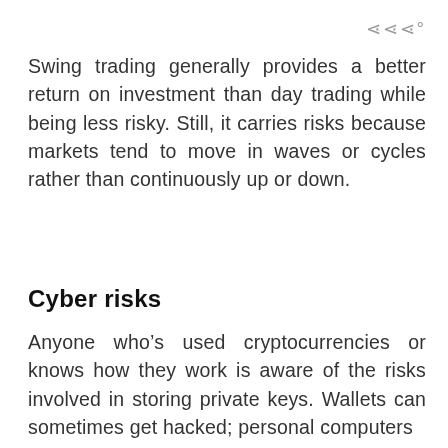III°
Swing trading generally provides a better return on investment than day trading while being less risky. Still, it carries risks because markets tend to move in waves or cycles rather than continuously up or down.
Cyber risks
Anyone who's used cryptocurrencies or knows how they work is aware of the risks involved in storing private keys. Wallets can sometimes get hacked; personal computers can be infected with viruses that can destroy...